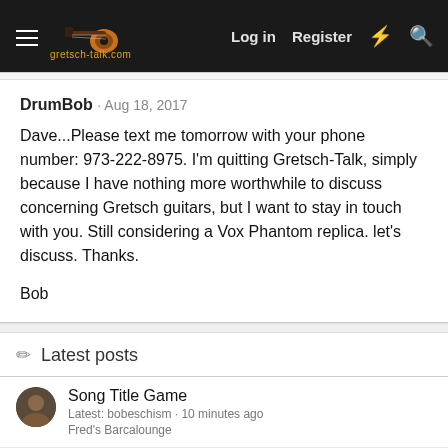gretsch-talk.com  Log in  Register
DrumBob · Aug 18, 2017

Dave...Please text me tomorrow with your phone number: 973-222-8975. I'm quitting Gretsch-Talk, simply because I have nothing more worthwhile to discuss concerning Gretsch guitars, but I want to stay in touch with you. Still considering a Vox Phantom replica. let's discuss. Thanks.

Bob
Latest posts
Song Title Game
Latest: bobeschism · 10 minutes ago
Fred's Barcalounge
Supro in action
Latest: stiv · 34 minutes ago